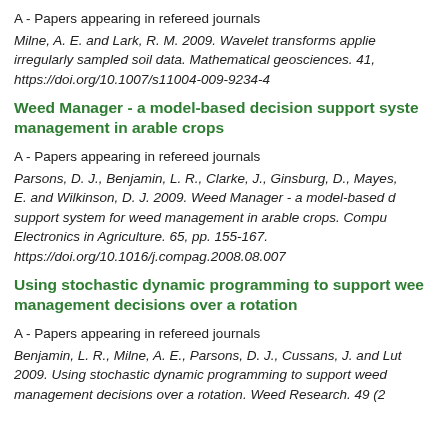A - Papers appearing in refereed journals
Milne, A. E. and Lark, R. M. 2009. Wavelet transforms applied irregularly sampled soil data. Mathematical geosciences. 41, https://doi.org/10.1007/s11004-009-9234-4
Weed Manager - a model-based decision support system management in arable crops
A - Papers appearing in refereed journals
Parsons, D. J., Benjamin, L. R., Clarke, J., Ginsburg, D., Mayes, E. and Wilkinson, D. J. 2009. Weed Manager - a model-based decision support system for weed management in arable crops. Computers and Electronics in Agriculture. 65, pp. 155-167. https://doi.org/10.1016/j.compag.2008.08.007
Using stochastic dynamic programming to support weed management decisions over a rotation
A - Papers appearing in refereed journals
Benjamin, L. R., Milne, A. E., Parsons, D. J., Cussans, J. and Lut 2009. Using stochastic dynamic programming to support weed management decisions over a rotation. Weed Research. 49 (2